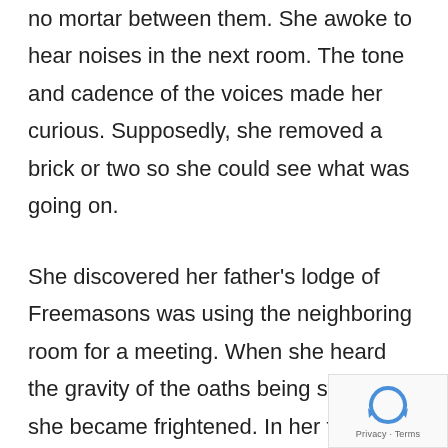no mortar between them. She awoke to hear noises in the next room. The tone and cadence of the voices made her curious. Supposedly, she removed a brick or two so she could see what was going on.
She discovered her father's lodge of Freemasons was using the neighboring room for a meeting. When she heard the gravity of the oaths being sworn, she became frightened. In her fear, she
[Figure (other): reCAPTCHA logo (circular arrows icon) with 'Privacy - Terms' text below]